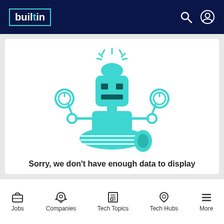builtin
[Figure (illustration): Green robot/error illustration with wrenches and a warning light on top, sitting on a log, indicating a data error state]
Sorry, we don't have enough data to display
Jobs | Companies | Tech Topics | Tech Hubs | More